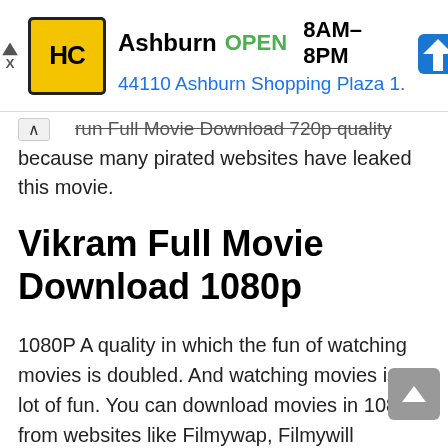[Figure (other): Advertisement banner for HC hardware store in Ashburn showing logo, OPEN status, hours 8AM-8PM, and address 44110 Ashburn Shopping Plaza 1.]
run Full Movie Download 720p quality because many pirated websites have leaked this movie.
Vikram Full Movie Download 1080p
1080P A quality in which the fun of watching movies is doubled. And watching movies is a lot of fun. You can download movies in 1080p from websites like Filmywap, Filmywill